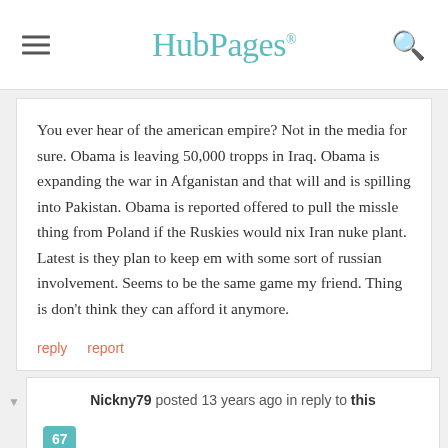HubPages
You ever hear of the american empire? Not in the media for sure. Obama is leaving 50,000 tropps in Iraq. Obama is expanding the war in Afganistan and that will and is spilling into Pakistan. Obama is reported offered to pull the missle thing from Poland if the Ruskies would nix Iran nuke plant. Latest is they plan to keep em with some sort of russian involvement. Seems to be the same game my friend. Thing is don't think they can afford it anymore.
reply   report
Nickny79 posted 13 years ago in reply to this
67